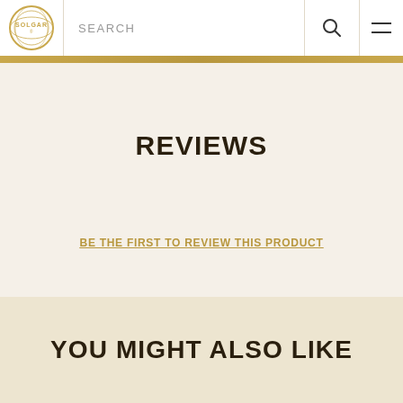SOLGAR | SEARCH
REVIEWS
BE THE FIRST TO REVIEW THIS PRODUCT
YOU MIGHT ALSO LIKE